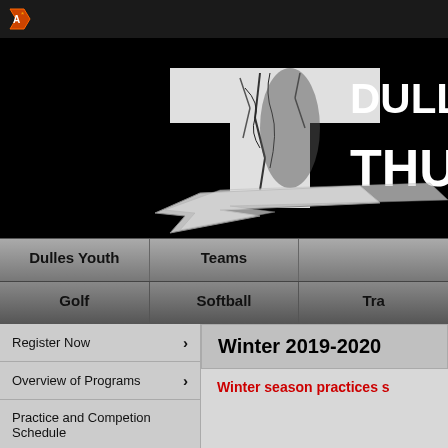Dulles Thunder Athletics
[Figure (logo): Dulles Thunder logo with cracked letter T and lightning bolt on black background, text reads DULL THU]
| Dulles Youth | Teams | (cut off) |
| --- | --- | --- |
| Golf | Softball | Tra... |
Register Now
Overview of Programs
Practice and Competion Schedule
Equipment, Uniforms, Apparel
Winter 2019-2020
Winter season practices s...